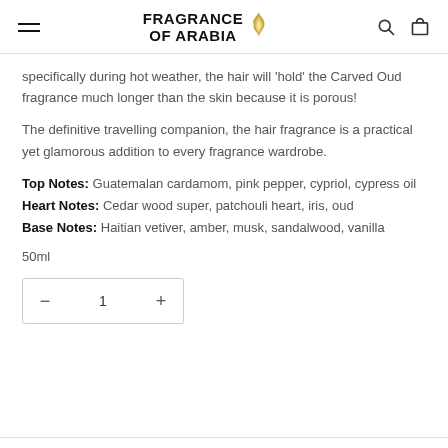FRAGRANCE OF ARABIA
specifically during hot weather, the hair will 'hold' the Carved Oud fragrance much longer than the skin because it is porous!
The definitive travelling companion, the hair fragrance is a practical yet glamorous addition to every fragrance wardrobe.
Top Notes: Guatemalan cardamom, pink pepper, cypriol, cypress oil
Heart Notes: Cedar wood super, patchouli heart, iris, oud
Base Notes: Haitian vetiver, amber, musk, sandalwood, vanilla
50ml